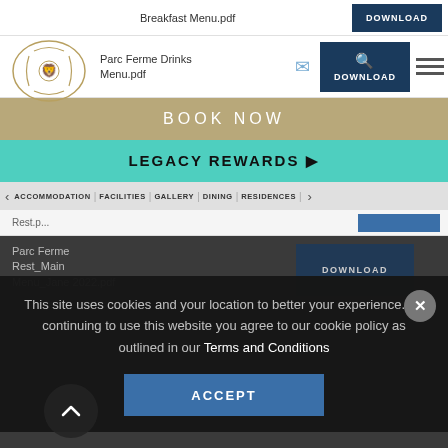Breakfast Menu.pdf
Parc Ferme Drinks Menu.pdf
BOOK NOW
LEGACY REWARDS ▶
ACCOMMODATION | FACILITIES | GALLERY | DINING | RESIDENCES |
Parc Ferme Rest_Main Menu_Jane 2022.pdf
This site uses cookies and your location to better your experience. By continuing to use this website you agree to our cookie policy as outlined in our Terms and Conditions
ACCEPT